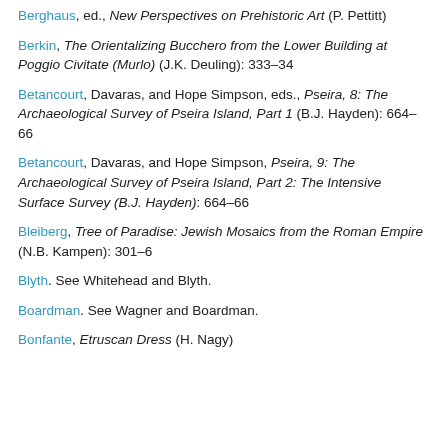Berghaus, ed., New Perspectives on Prehistoric Art (P. Pettitt)
Berkin, The Orientalizing Bucchero from the Lower Building at Poggio Civitate (Murlo) (J.K. Deuling): 333–34
Betancourt, Davaras, and Hope Simpson, eds., Pseira, 8: The Archaeological Survey of Pseira Island, Part 1 (B.J. Hayden): 664–66
Betancourt, Davaras, and Hope Simpson, Pseira, 9: The Archaeological Survey of Pseira Island, Part 2: The Intensive Surface Survey (B.J. Hayden): 664–66
Bleiberg, Tree of Paradise: Jewish Mosaics from the Roman Empire (N.B. Kampen): 301–6
Blyth. See Whitehead and Blyth.
Boardman. See Wagner and Boardman.
Bonfante, Etruscan Dress (H. Nagy)